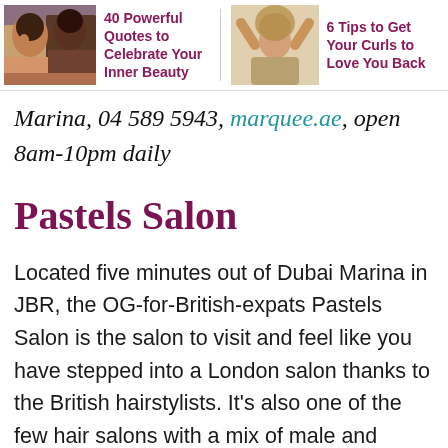[Figure (photo): Two women photo thumbnail for article '40 Powerful Quotes to Celebrate Your Inner Beauty']
40 Powerful Quotes to Celebrate Your Inner Beauty
[Figure (photo): Woman with hands behind head photo thumbnail for article '6 Tips to Get Your Curls to Love You Back']
6 Tips to Get Your Curls to Love You Back
Marina, 04 589 5943, marquee.ae, open 8am-10pm daily
Pastels Salon
Located five minutes out of Dubai Marina in JBR, the OG-for-British-expats Pastels Salon is the salon to visit and feel like you have stepped into a London salon thanks to the British hairstylists. It's also one of the few hair salons with a mix of male and female staff, all of whom